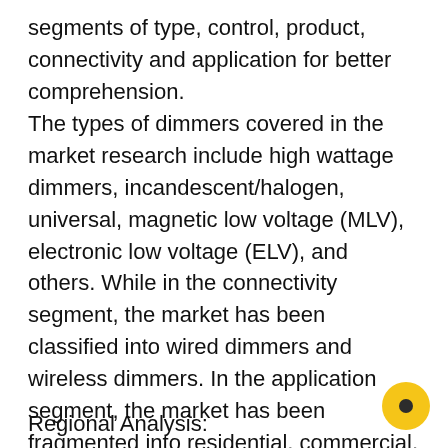segments of type, control, product, connectivity and application for better comprehension.
The types of dimmers covered in the market research include high wattage dimmers, incandescent/halogen, universal, magnetic low voltage (MLV), electronic low voltage (ELV), and others. While in the connectivity segment, the market has been classified into wired dimmers and wireless dimmers. In the application segment, the market has been fragmented into residential, commercial, and industrial. These major segments of the Dimmer's market contribute to developing the market's growth and help the market competition at the global level.
Regional Analysis: